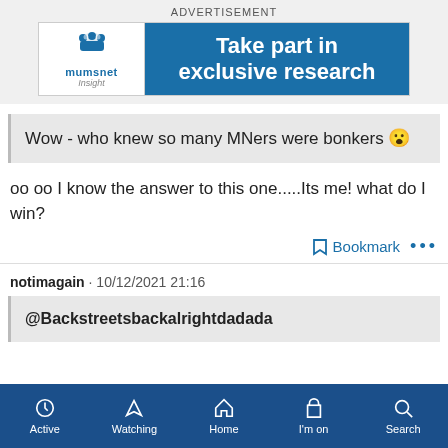[Figure (other): Mumsnet Insight advertisement banner: 'Take part in exclusive research']
Wow - who knew so many MNers were bonkers 😮
oo oo I know the answer to this one.....Its me! what do I win?
notimagain · 10/12/2021 21:16
@Backstreetsbackalrightdadada